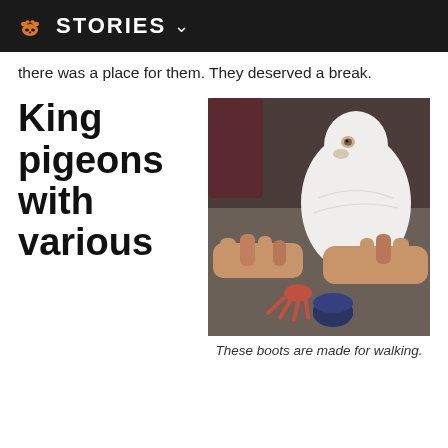STORIES
there was a place for them. They deserved a break.
King pigeons with various
[Figure (photo): A white king pigeon being held in human hands, wearing a small dark blue knitted boot on one foot. The bird's red claws are visible on the other foot.]
These boots are made for walking.